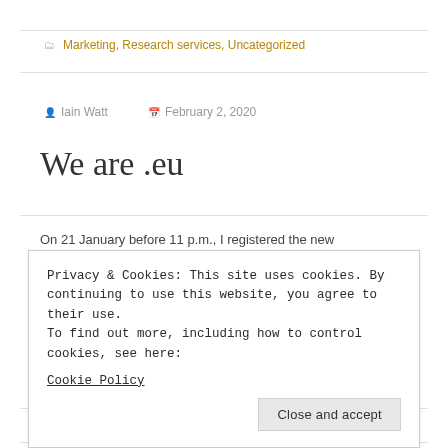Marketing, Research services, Uncategorized
Iain Watt   February 2, 2020
We are .eu
On 21 January before 11 p.m., I registered the new
Privacy & Cookies: This site uses cookies. By continuing to use this website, you agree to their use.
To find out more, including how to control cookies, see here:
Cookie Policy
Close and accept
Uncategorized